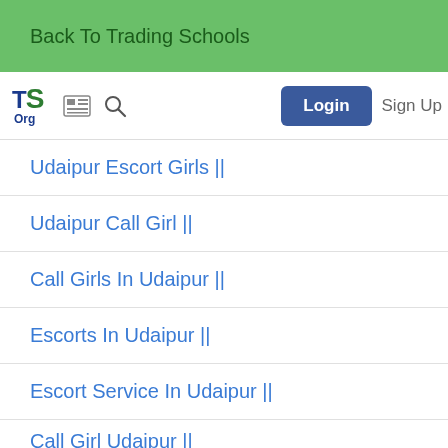Back To Trading Schools
TS Org [logo] [grid icon] [search icon] Login Sign Up
Udaipur Escort Girls ||
Udaipur Call Girl ||
Call Girls In Udaipur ||
Escorts In Udaipur ||
Escort Service In Udaipur ||
Call Girl Udaipur ||